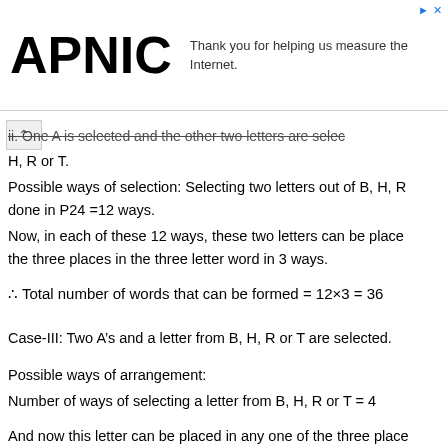[Figure (logo): APNIC logo with advertisement text: Thank you for helping us measure the Internet.]
ii. One A is selected and the other two letters are selected from B, H, R or T.
Possible ways of selection: Selecting two letters out of B, H, R or T can be done in P24 =12 ways.
Now, in each of these 12 ways, these two letters can be placed in the three places in the three letter word in 3 ways.
∴ Total number of words that can be formed = 12×3 = 36
Case-III: Two A's and a letter from B, H, R or T are selected.
Possible ways of arrangement:
Number of ways of selecting a letter from B, H, R or T = 4
And now this letter can be placed in any one of the three places in the three letter word, the other two places A is 3–